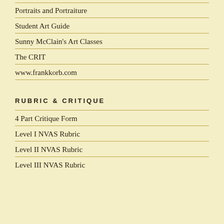Portraits and Portraiture
Student Art Guide
Sunny McClain's Art Classes
The CRIT
www.frankkorb.com
RUBRIC & CRITIQUE
4 Part Critique Form
Level I NVAS Rubric
Level II NVAS Rubric
Level III NVAS Rubric